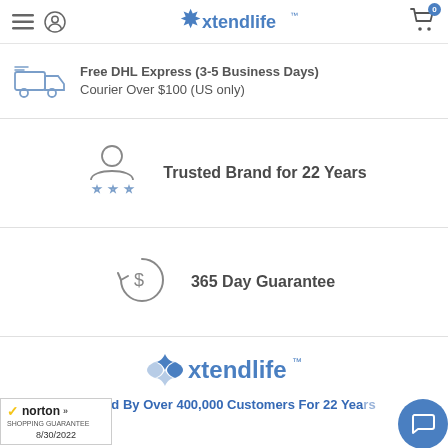xtendlife
Free DHL Express (3-5 Business Days) Courier Over $100 (US only)
Trusted Brand for 22 Years
365 Day Guarantee
[Figure (logo): Xtendlife logo — blue snowflake/star icon with 'xtendlife' wordmark]
Trusted By Over 400,000 Customers For 22 Years